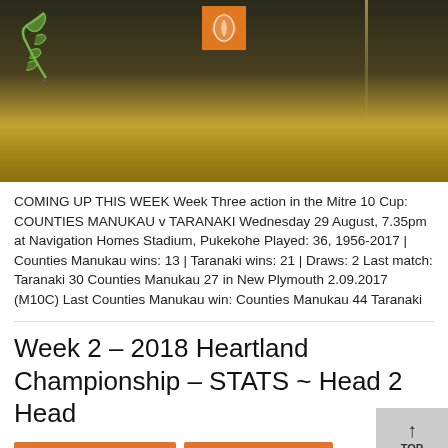[Figure (photo): Dark rugby field at night with a green fern mascot on the left and an orange logo/emblem in the center top. Background shows a lit field with dark sky.]
COMING UP THIS WEEK Week Three action in the Mitre 10 Cup: COUNTIES MANUKAU v TARANAKI Wednesday 29 August, 7.35pm at Navigation Homes Stadium, Pukekohe Played: 36, 1956-2017 | Counties Manukau wins: 13 | Taranaki wins: 21 | Draws: 2 Last match: Taranaki 30 Counties Manukau 27 in New Plymouth 2.09.2017 (M10C) Last Counties Manukau win: Counties Manukau 44 Taranaki
Week 2 – 2018 Heartland Championship – STATS ~ Head 2 Head
Heartland Championship
RugbyHeartland News